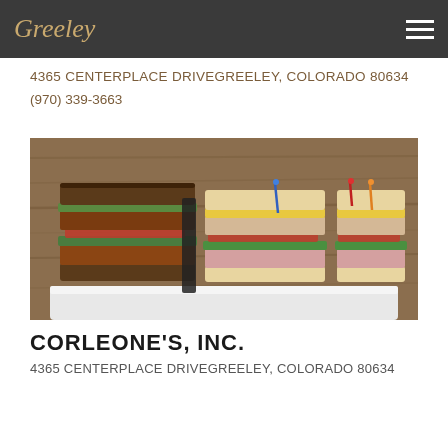Greeley
4365 CENTERPLACE DRIVEGREELEY, COLORADO 80634
(970) 339-3663
[Figure (photo): Photo of multiple sandwiches stacked with various fillings including meats, lettuce, tomato, cheese, displayed on a white tray against a wood background.]
CORLEONE'S, INC.
4365 CENTERPLACE DRIVEGREELEY, COLORADO 80634